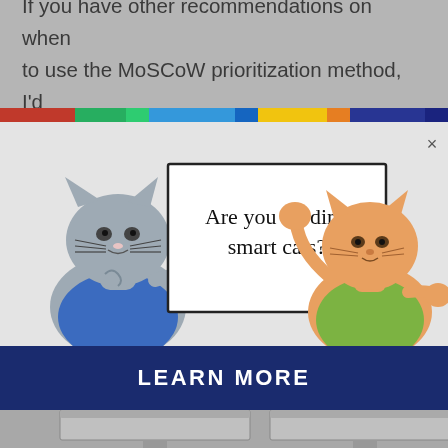If you have other recommendations on when to use the MoSCoW prioritization method, I'd
[Figure (illustration): Advertisement popup showing two cartoon cats holding a sign that reads 'Are you herding smart cats?' with a close X button. Left cat is gray wearing blue, right cat is orange wearing green. Below is a dark blue 'LEARN MORE' button.]
LEARN MORE